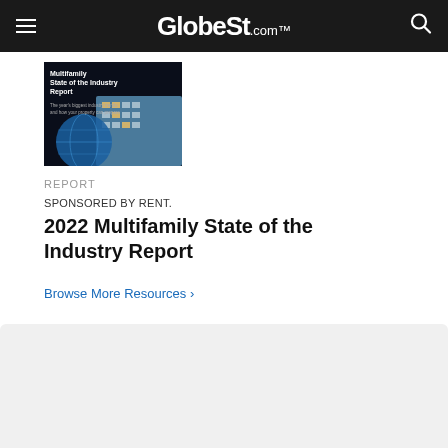GlobeSt.com
[Figure (photo): Cover image of Multifamily State of the Industry Report - dark background with building photo and report title text]
REPORT
SPONSORED BY RENT.
2022 Multifamily State of the Industry Report
Browse More Resources ›
[Figure (logo): GlobeSt logo in dark blue bold text on light gray background]